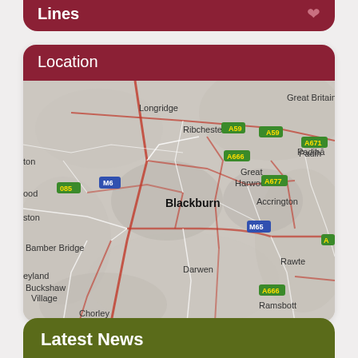Lines
Location
[Figure (map): Road map of Blackburn and surrounding areas in Lancashire, England, showing towns including Longridge, Ribchester, Great Britain, Great Harwood, Padihام, Accrington, Bamber Bridge, Leyland, Buckshaw Village, Chorley, Darwen, Rawte(nstall), Ramsbottom, and road labels A59, A671, A666, A677, M6, M65.]
Latest News